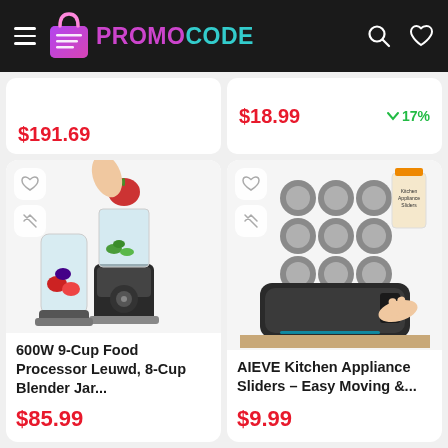PROMOCODE
$191.69
$18.99  ↓17%
[Figure (photo): 600W 9-Cup Food Processor with blender jar, showing hand dropping tomato into food processor with vegetables inside]
600W 9-Cup Food Processor Leuwd, 8-Cup Blender Jar...
$85.99
[Figure (photo): AIEVE Kitchen Appliance Sliders product showing circular slider pads and a person moving a kitchen appliance on a countertop]
AIEVE Kitchen Appliance Sliders – Easy Moving &...
$9.99